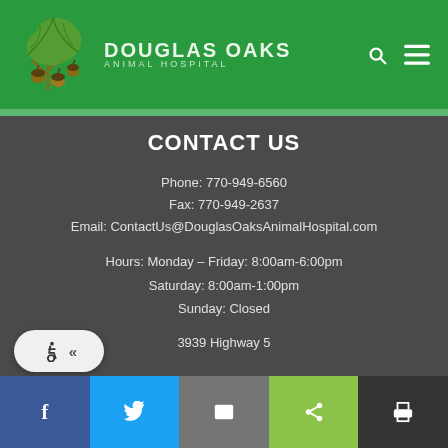[Figure (logo): Douglas Oaks Animal Hospital logo with oak leaf and acorns illustration, text DOUGLAS OAKS ANIMAL HOSPITAL on green header, with search and menu icons]
CONTACT US
Phone: 770-949-6560
Fax: 770-949-2637
Email: ContactUs@DouglasOaksAnimalHospital.com
Hours: Monday – Friday: 8:00am-6:00pm
Saturday: 8:00am-1:00pm
Sunday: Closed
3939 Highway 5
[Figure (other): Accessibility widget with wheelchair icon and double-chevron, bottom social share bar with Facebook, Twitter, email, share, and print buttons]